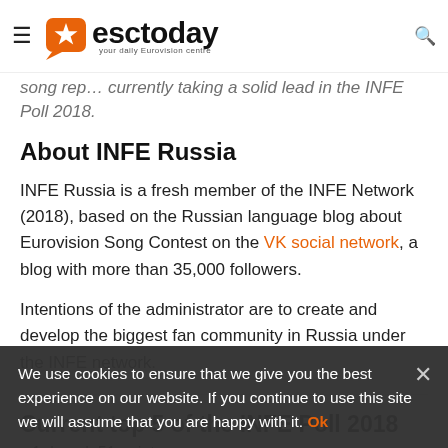esctoday — your daily Eurovision centre
song rep… currently taking a solid lead in the INFE Poll 2018.
About INFE Russia
INFE Russia is a fresh member of the INFE Network (2018), based on the Russian language blog about Eurovision Song Contest on the VK social network, a blog with more than 35,000 followers.
Intentions of the administrator are to create and develop the biggest fan community in Russia under the INFE network.
Current top 5 of the INFE Poll 2018
1. Israel: 51 point
2. Bulgaria: 37 points
3. France: 34 points
We use cookies to ensure that we give you the best experience on our website. If you continue to use this site we will assume that you are happy with it.